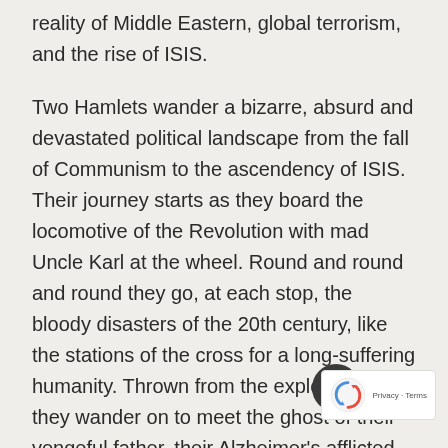reality of Middle Eastern, global terrorism, and the rise of ISIS.
Two Hamlets wander a bizarre, absurd and devastated political landscape from the fall of Communism to the ascendency of ISIS. Their journey starts as they board the locomotive of the Revolution with mad Uncle Karl at the wheel. Round and round and round they go, at each stop, the bloody disasters of the 20th century, like the stations of the cross for a long-suffering humanity. Thrown from the exploding train, they wander on to meet the ghost of their vengeful father, their Alzheimer's afflicted mother Gertrude, and finally the fair Ophelia, who has become an Islamic Terrorist. But that's only the